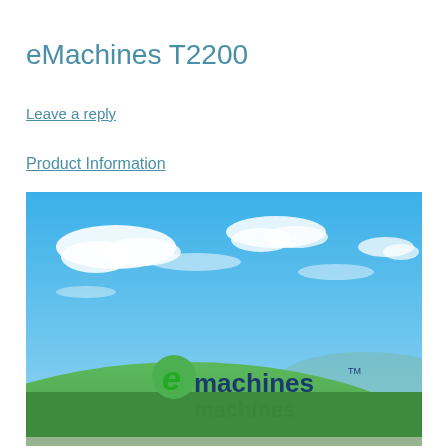eMachines T2200
Leave a reply
Product Information
[Figure (screenshot): Screenshot of eMachines desktop wallpaper showing the classic Windows XP-style rolling green hills landscape with blue sky and clouds, with the eMachines logo (green 'e' and dark blue 'machines' text with TM mark) displayed prominently in the lower center of the image.]